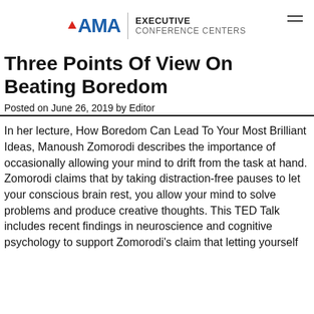AMA EXECUTIVE CONFERENCE CENTERS
Three Points Of View On Beating Boredom
Posted on June 26, 2019 by Editor
In her lecture, How Boredom Can Lead To Your Most Brilliant Ideas, Manoush Zomorodi describes the importance of occasionally allowing your mind to drift from the task at hand. Zomorodi claims that by taking distraction-free pauses to let your conscious brain rest, you allow your mind to solve problems and produce creative thoughts. This TED Talk includes recent findings in neuroscience and cognitive psychology to support Zomorodi's claim that letting yourself